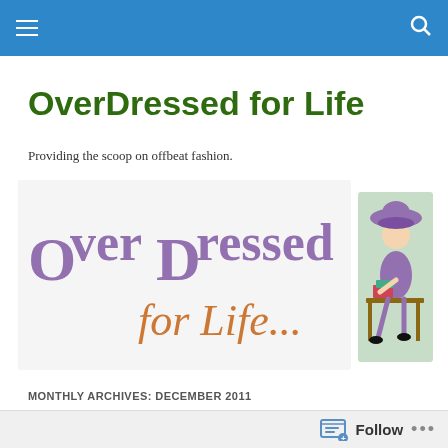OverDressed for Life — navigation bar
OverDressed for Life
Providing the scoop on offbeat fashion.
[Figure (logo): OverDressed for Life blog logo with stylized purple text 'OverDressed' and orange 'for Life...' text, plus illustration of a woman in purple dress and hat reading at a desk]
MONTHLY ARCHIVES: DECEMBER 2011
Fashion Highlights in 2011
Follow ...